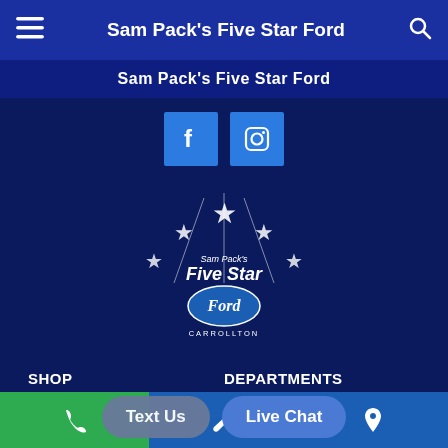Sam Pack's Five Star Ford
Sam Pack's Five Star Ford
[Figure (logo): Sam Pack's Five Star Ford dealership logo with five stars and Ford oval emblem, Carrollton]
SHOP
New Ford
Used
Specials
Commercial
DEPARTMENTS
Sales/Finance
Service
Parts
ABOUT US
CONTACT US
Text Us
Live Chat